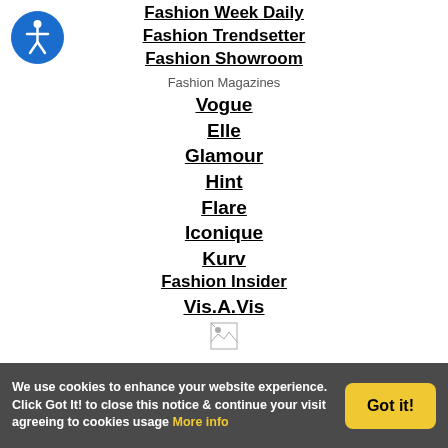[Figure (logo): Blue circle accessibility icon with white person figure]
Fashion Week Daily
Fashion Trendsetter
Fashion Showroom
Fashion Magazines
Vogue
Elle
Glamour
Hint
Flare
Iconique
Kurv
Fashion Insider
Vis.A.Vis
[Figure (illustration): Small broken/placeholder image icon]
Careers in Fashion
Fashion Jobs
Style Careers
Fashion Career Center
WWD Careers
Daily Fashion Jobs
History Of Fashion
We use cookies to enhance your website experience. Click Got It! to close this notice & continue your visit agreeing to cookies usage More info